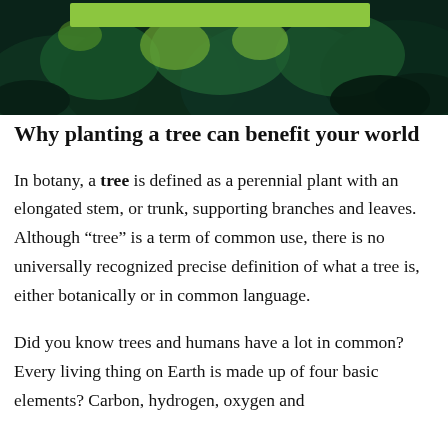[Figure (photo): A lush green forest canopy photo used as a header image with deep green ferns and foliage, with a lime green rectangular banner overlay at the top center.]
Why planting a tree can benefit your world
In botany, a tree is defined as a perennial plant with an elongated stem, or trunk, supporting branches and leaves. Although “tree” is a term of common use, there is no universally recognized precise definition of what a tree is, either botanically or in common language.
Did you know trees and humans have a lot in common? Every living thing on Earth is made up of four basic elements? Carbon, hydrogen, oxygen and